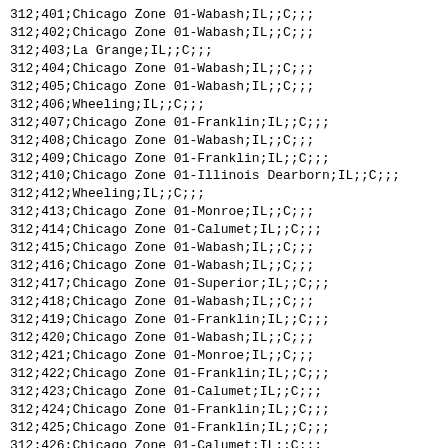312;401;Chicago Zone 01-Wabash;IL;;C;;;
312;402;Chicago Zone 01-Wabash;IL;;C;;;
312;403;La Grange;IL;;C;;;
312;404;Chicago Zone 01-Wabash;IL;;C;;;
312;405;Chicago Zone 01-Wabash;IL;;C;;;
312;406;Wheeling;IL;;C;;;
312;407;Chicago Zone 01-Franklin;IL;;C;;;
312;408;Chicago Zone 01-Wabash;IL;;C;;;
312;409;Chicago Zone 01-Franklin;IL;;C;;;
312;410;Chicago Zone 01-Illinois Dearborn;IL;;C;;;
312;412;Wheeling;IL;;C;;;
312;413;Chicago Zone 01-Monroe;IL;;C;;;
312;414;Chicago Zone 01-Calumet;IL;;C;;;
312;415;Chicago Zone 01-Wabash;IL;;C;;;
312;416;Chicago Zone 01-Wabash;IL;;C;;;
312;417;Chicago Zone 01-Superior;IL;;C;;;
312;418;Chicago Zone 01-Wabash;IL;;C;;;
312;419;Chicago Zone 01-Franklin;IL;;C;;;
312;420;Chicago Zone 01-Wabash;IL;;C;;;
312;421;Chicago Zone 01-Monroe;IL;;C;;;
312;422;Chicago Zone 01-Franklin;IL;;C;;;
312;423;Chicago Zone 01-Calumet;IL;;C;;;
312;424;Chicago Zone 01-Franklin;IL;;C;;;
312;425;Chicago Zone 01-Franklin;IL;;C;;;
312;426;Chicago Zone 01-Calumet;IL;;C;;;
312;427;Chicago Zone 01-Wabash;IL;;C;;;
312;428;Chicago Zone 01-Wabash;IL;;C;;;
312;429;Chicago Zone 01-Franklin;IL;;C;;;
312;430;Chicago Zone 01-Canal;IL;;C;;;
312;431;Chicago Zone 01-Wabash;IL;;C;;;